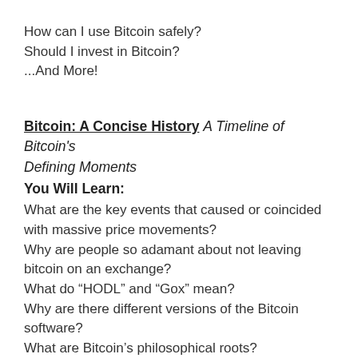How can I use Bitcoin safely?
Should I invest in Bitcoin?
...And More!
Bitcoin: A Concise History A Timeline of Bitcoin's Defining Moments
You Will Learn:
What are the key events that caused or coincided with massive price movements?
Why are people so adamant about not leaving bitcoin on an exchange?
What do “HODL” and “Gox” mean?
Why are there different versions of the Bitcoin software?
What are Bitcoin’s philosophical roots?
...And More!